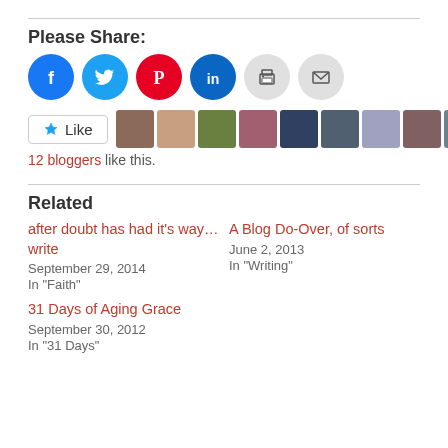Please Share:
[Figure (infographic): Six social share buttons: Facebook (blue circle), Twitter (cyan circle), Pinterest (red circle), LinkedIn (dark teal circle), Print (gray circle), Email (gray circle)]
[Figure (infographic): Like button with star icon, followed by 10 blogger avatar thumbnails]
12 bloggers like this.
Related
after doubt has had it's way… write
September 29, 2014
In "Faith"
A Blog Do-Over, of sorts
June 2, 2013
In "Writing"
31 Days of Aging Grace
September 30, 2012
In "31 Days"